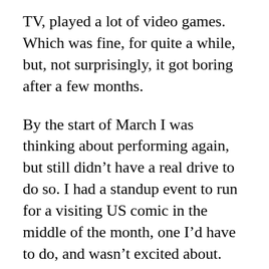TV, played a lot of video games. Which was fine, for quite a while, but, not surprisingly, it got boring after a few months.
By the start of March I was thinking about performing again, but still didn't have a real drive to do so. I had a standup event to run for a visiting US comic in the middle of the month, one I'd have to do, and wasn't excited about. When Trump announced the US-Europe travel ban, the comic had to cancel, and though I feel bad for that person, the news came as a relief. I just wasn't ready for it.
However, when the middle of the month actually arrived, I was asked to host another show and I